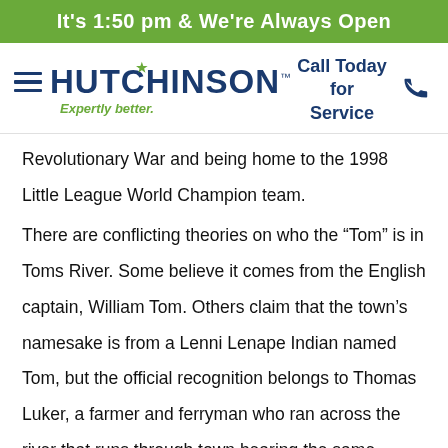It's 1:50 pm & We're Always Open
[Figure (logo): Hutchinson company logo with menu icon, star, and tagline 'Expertly better.' alongside 'Call Today for Service' with phone icon]
Revolutionary War and being home to the 1998 Little League World Champion team.
There are conflicting theories on who the “Tom” is in Toms River. Some believe it comes from the English captain, William Tom. Others claim that the town’s namesake is from a Lenni Lenape Indian named Tom, but the official recognition belongs to Thomas Luker, a farmer and ferryman who ran across the river that runs through town bearing the same name.